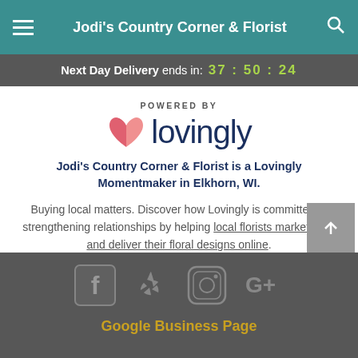Jodi's Country Corner & Florist
Next Day Delivery ends in: 37 : 50 : 24
[Figure (logo): Powered by Lovingly logo with pink/red heart icon and dark blue 'lovingly' wordmark]
Jodi's Country Corner & Florist is a Lovingly Momentmaker in Elkhorn, WI.
Buying local matters. Discover how Lovingly is committed to strengthening relationships by helping local florists market, sell, and deliver their floral designs online.
Google Business Page